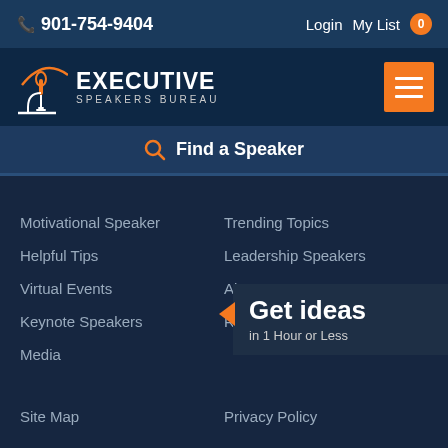901-754-9404  Login  My List 0
[Figure (logo): Executive Speakers Bureau logo with microphone icon and orange arc]
Find a Speaker
Motivational Speaker
Helpful Tips
Virtual Events
Keynote Speakers
Media
Trending Topics
Leadership Speakers
About Us
Request Ideas
Get ideas
in 1 Hour or Less
Site Map
Privacy Policy
Contact Us